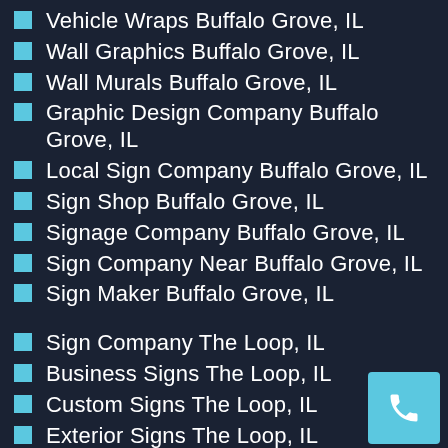Vehicle Wraps Buffalo Grove, IL
Wall Graphics Buffalo Grove, IL
Wall Murals Buffalo Grove, IL
Graphic Design Company Buffalo Grove, IL
Local Sign Company Buffalo Grove, IL
Sign Shop Buffalo Grove, IL
Signage Company Buffalo Grove, IL
Sign Company Near Buffalo Grove, IL
Sign Maker Buffalo Grove, IL
Sign Company The Loop, IL
Business Signs The Loop, IL
Custom Signs The Loop, IL
Exterior Signs The Loop, IL
Interior Signs The Loop, IL
Post & Panel Signs The Loop, IL